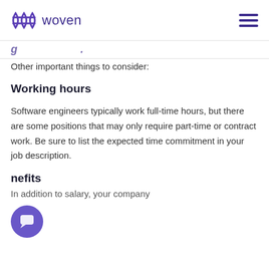woven
g... (partial, cut off)
Other important things to consider:
Working hours
Software engineers typically work full-time hours, but there are some positions that may only require part-time or contract work. Be sure to list the expected time commitment in your job description.
nefits (partial — Benefits)
In addition to salary, your company (partial, cut off)